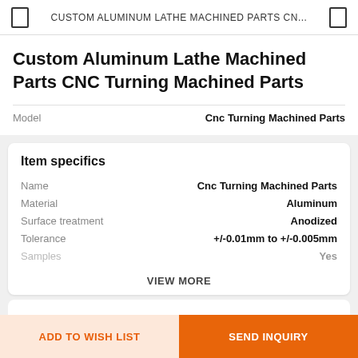CUSTOM ALUMINUM LATHE MACHINED PARTS CN...
Custom Aluminum Lathe Machined Parts CNC Turning Machined Parts
Model    Cnc Turning Machined Parts
Item specifics
| Property | Value |
| --- | --- |
| Name | Cnc Turning Machined Parts |
| Material | Aluminum |
| Surface treatment | Anodized |
| Tolerance | +/-0.01mm to +/-0.005mm |
| Samples | Yes |
VIEW MORE
Review
MORE
ADD TO WISH LIST
SEND INQUIRY